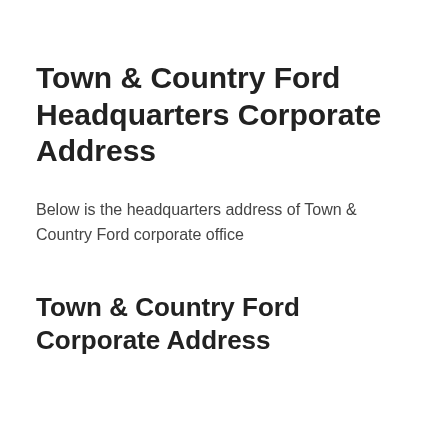Town & Country Ford Headquarters Corporate Address
Below is the headquarters address of Town & Country Ford corporate office
Town & Country Ford Corporate Address